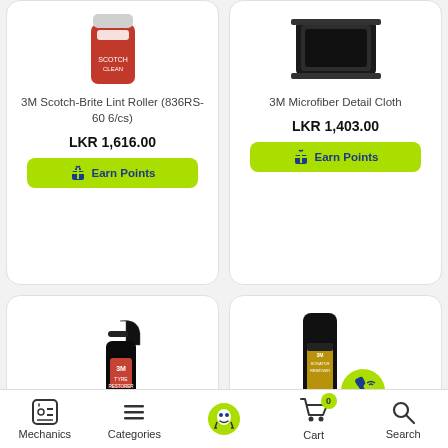[Figure (photo): 3M Scotch-Brite Lint Roller product image (red can)]
3M Scotch-Brite Lint Roller (836RS-60 6/cs)
LKR 1,616.00
Earn Points
[Figure (photo): 3M Microfiber Detail Cloth product image (dark cloth on white background)]
3M Microfiber Detail Cloth
LKR 1,403.00
Earn Points
[Figure (photo): 3M Tyre Restorer spray bottle (black bottle with trigger spray)]
[Figure (photo): 3M Scratch Remover bottle (black and gold) with green phone button overlay]
Mechanics  Categories  Cart  Search